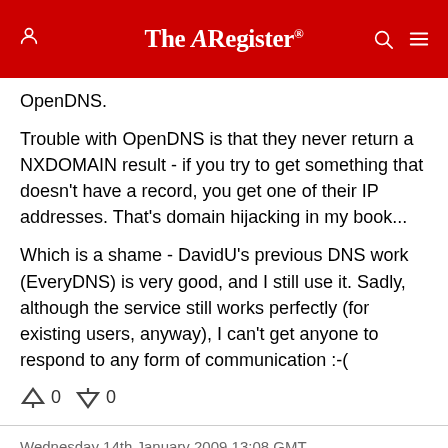The Register
OpenDNS.
Trouble with OpenDNS is that they never return a NXDOMAIN result - if you try to get something that doesn't have a record, you get one of their IP addresses. That's domain hijacking in my book...
Which is a shame - DavidU's previous DNS work (EveryDNS) is very good, and I still use it. Sadly, although the service still works perfectly (for existing users, anyway), I can't get anyone to respond to any form of communication :-(
0  0
Wednesday 14th January 2009 13:08 GMT
Destroy All Monsters
Report abuse
Accidental Child Porn! Argh!